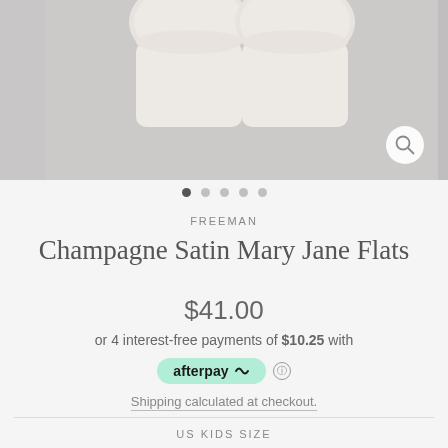[Figure (photo): Overhead view of champagne/beige satin Mary Jane flat shoes on a grey fabric background, with a magnify/zoom icon in the bottom right]
FREEMAN
Champagne Satin Mary Jane Flats
$41.00
or 4 interest-free payments of $10.25 with
afterpay
Shipping calculated at checkout.
US KIDS SIZE